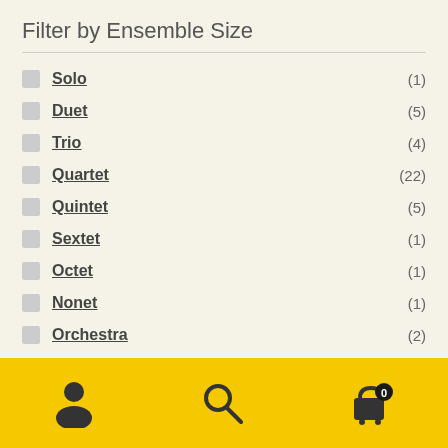Filter by Ensemble Size
Solo (1)
Duet (5)
Trio (4)
Quartet (22)
Quintet (5)
Sextet (1)
Octet (1)
Nonet (1)
Orchestra (2)
Filter by Difficulty
Easy (*) (1)
[Figure (other): Bottom navigation bar with user icon, search icon, and shopping cart icon with 0 badge, on yellow background]